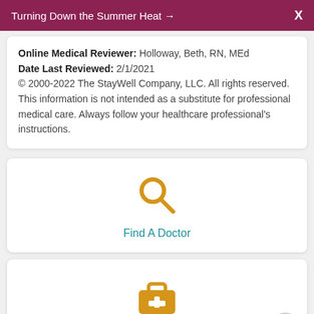Turning Down the Summer Heat →   X
Online Medical Reviewer: Holloway, Beth, RN, MEd
Date Last Reviewed: 2/1/2021
© 2000-2022 The StayWell Company, LLC. All rights reserved. This information is not intended as a substitute for professional medical care. Always follow your healthcare professional's instructions.
[Figure (illustration): Orange magnifying glass search icon]
Find A Doctor
[Figure (illustration): Orange medical briefcase with plus sign icon]
Select a Service